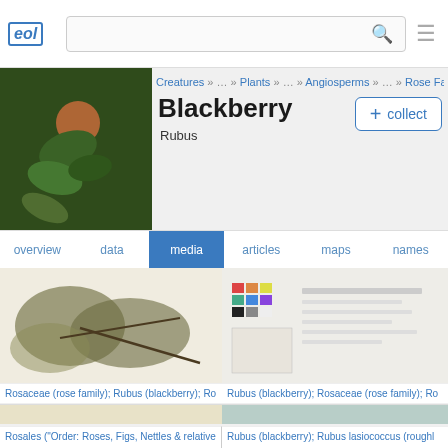EOL - Encyclopedia of Life - Blackberry Rubus - media
Creatures » … » Plants » … » Angiosperms » … » Rose Family
Blackberry
Rubus
+ collect
overview  data  media  articles  maps  names
[Figure (photo): Herbarium specimen of Rosaceae / Rubus (blackberry) on cream background]
Rosaceae (rose family); Rubus (blackberry); Ro
[Figure (photo): Color calibration card with document for Rubus (blackberry); Rosaceae specimen]
Rubus (blackberry); Rosaceae (rose family); Ro
[Figure (photo): Herbarium specimen of Rosales plant on beige background]
Rosales ("Order: Roses, Figs, Nettles & relative
[Figure (photo): Herbarium specimen of Rubus lasiococcus (roughleaf blackberry) on teal background]
Rubus (blackberry); Rubus lasiococcus (roughl